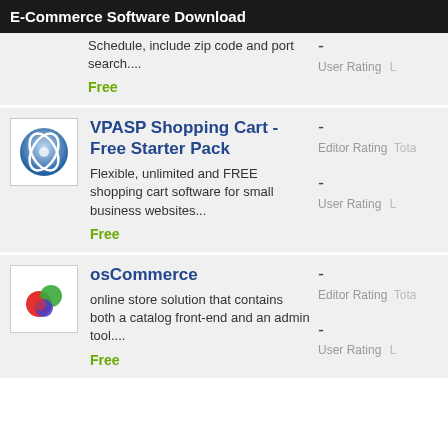E-Commerce Software Download
Schedule, include zip code and port search....
Free
VPASP Shopping Cart - Free Starter Pack
Flexible, unlimited and FREE shopping cart software for small business websites...
Free
osCommerce
online store solution that contains both a catalog front-end and an admin tool....
Free